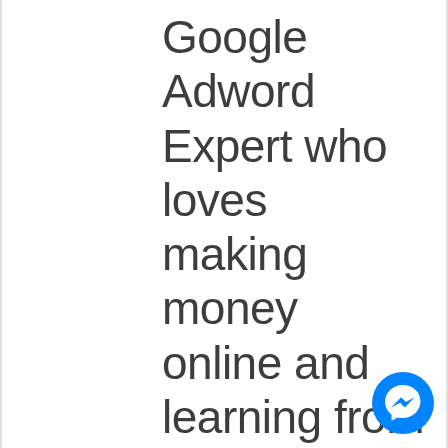Google Adword Expert who loves making money online and learning from the best information products and
[Figure (logo): Facebook Messenger blue circle icon with white lightning bolt / chat bubble symbol]